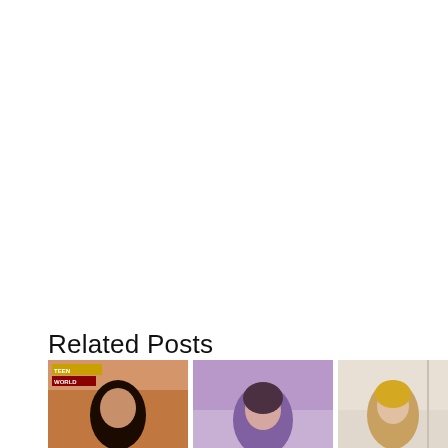Related Posts
[Figure (photo): Three thumbnail photos of people arranged in a horizontal row at the bottom of the page. The first thumbnail shows a person with dark hair against a warm/orange-toned background with a yellow text banner in the top-left corner. The second thumbnail shows a person against a purple/lavender background. The third thumbnail shows a person against a light/cream background.]